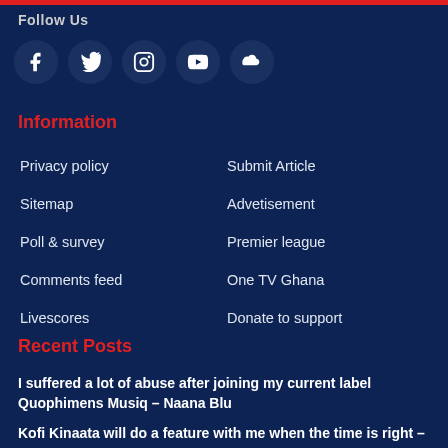Follow Us
[Figure (other): Row of 5 social media icon buttons: Facebook, Twitter, Instagram, YouTube, SoundCloud]
Information
Privacy policy
Submit Article
Sitemap
Advetisement
Poll & survey
Premier league
Comments feed
One TV Ghana
Livescores
Donate to support
Recent Posts
I suffered a lot of abuse after joining my current label Quophimens Musiq – Naana Blu
Kofi Kinaata will do a feature with me when the time is right –